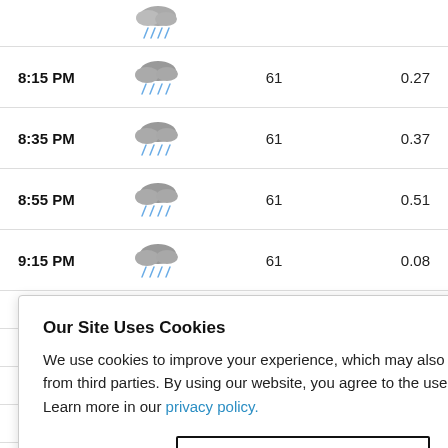| Time | Condition | Temp | Precip |
| --- | --- | --- | --- |
| 8:15 PM | [rain icon] | 61 | 0.27 |
| 8:35 PM | [rain icon] | 61 | 0.37 |
| 8:55 PM | [rain icon] | 61 | 0.51 |
| 9:15 PM | [rain icon] | 61 | 0.08 |
|  |  |  | 0.16 |
|  |  |  | 0.24 |
|  |  |  | 0.07 |
|  |  |  | 0.13 |
Our Site Uses Cookies
We use cookies to improve your experience, which may also include cookies from third parties. By using our website, you agree to the use of cookies. Learn more in our privacy policy.